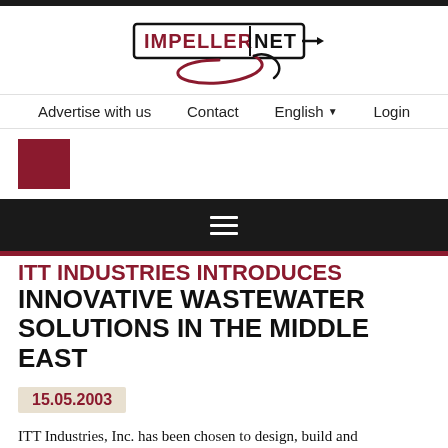[Figure (logo): ImpellerNet logo with red and black styling, stylized impeller/arrow graphic]
Advertise with us   Contact   English   Login
[Figure (other): Dark navigation menu bar with hamburger icon]
ITT INDUSTRIES INTRODUCES INNOVATIVE WASTEWATER SOLUTIONS IN THE MIDDLE EAST
15.05.2003
ITT Industries, Inc. has been chosen to design, build and commission the aeration, pumping and mixing system at the Sulaibiya Wastewater Treatment and Reclamation plant in